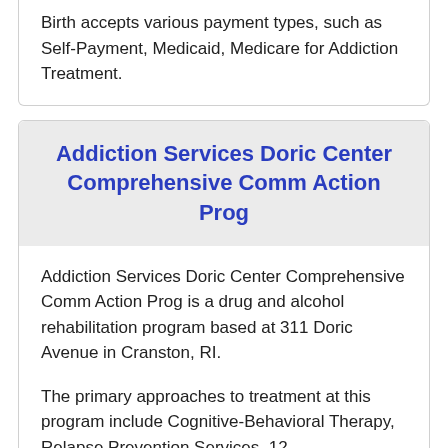Birth accepts various payment types, such as Self-Payment, Medicaid, Medicare for Addiction Treatment.
Addiction Services Doric Center Comprehensive Comm Action Prog
Addiction Services Doric Center Comprehensive Comm Action Prog is a drug and alcohol rehabilitation program based at 311 Doric Avenue in Cranston, RI.
The primary approaches to treatment at this program include Cognitive-Behavioral Therapy, Relapse Prevention Services, 12...